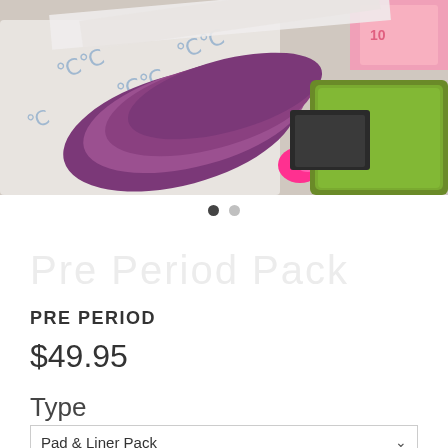[Figure (photo): Close-up photo of menstrual hygiene products including pads wrapped in purple packaging and a green pouch/case, with pink product packaging visible in the background.]
Pre Period Pack
PRE PERIOD
$49.95
Type
Pad & Liner Pack